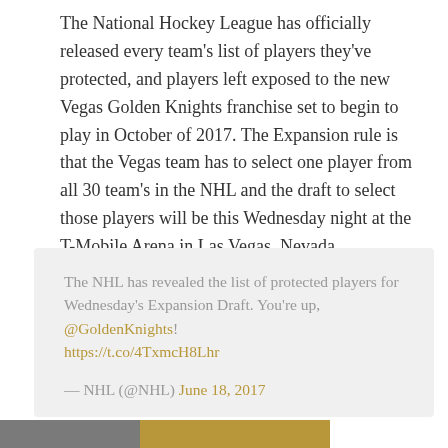The National Hockey League has officially released every team's list of players they've protected, and players left exposed to the new Vegas Golden Knights franchise set to begin to play in October of 2017. The Expansion rule is that the Vegas team has to select one player from all 30 team's in the NHL and the draft to select those players will be this Wednesday night at the T-Mobile Arena in Las Vegas, Nevada.
The NHL has revealed the list of protected players for Wednesday's Expansion Draft. You're up, @GoldenKnights! https://t.co/4TxmcH8Lhr

— NHL (@NHL) June 18, 2017